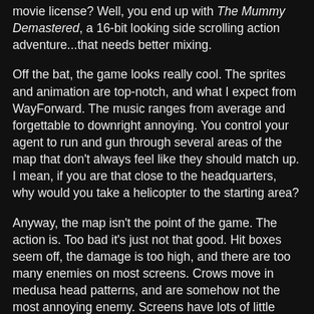movie license?  Well, you end up with The Mummy Demastered, a 16-bit looking side scrolling action adventure...that needs better mixing.
Off the bat, the game looks really cool.  The sprites and animation are top-notch, and what I expect from WayForward.  The music ranges from average and forgettable to downright annoying.  You control your agent to run and gun through several areas of the map that don't always feel like they should match up.  I mean, if you are that close to the headquarters, why would you take a helicopter to the starting area?
Anyway, the map isn't the point of the game.  The action is.  Too bad it's just not that good.  Hit boxes seem off, the damage is too high, and there are too many enemies on most screens.  Crows move in medusa head patterns, and are somehow not the most annoying enemy.  Screens have lots of little crawling and jumping monsters that can be hard to aim at.  Many enemies have cheap placement just off screen so you hit them when you are trying to advance.  Most things take too many shots from your default gun,